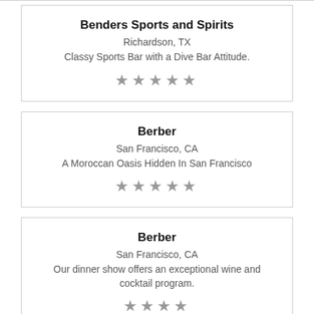Benders Sports and Spirits
Richardson, TX
Classy Sports Bar with a Dive Bar Attitude.
[Figure (other): Five gray star rating icons]
Berber
San Francisco, CA
A Moroccan Oasis Hidden In San Francisco
[Figure (other): Five gray star rating icons]
Berber
San Francisco, CA
Our dinner show offers an exceptional wine and cocktail program.
[Figure (other): Four gray star rating icons]